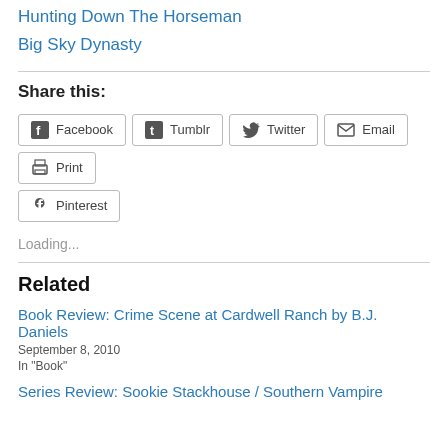Hunting Down The Horseman
Big Sky Dynasty
Share this:
Facebook  Tumblr  Twitter  Email  Print  Pinterest
Loading...
Related
Book Review: Crime Scene at Cardwell Ranch by B.J. Daniels
September 8, 2010
In "Book"
Series Review: Sookie Stackhouse / Southern Vampire